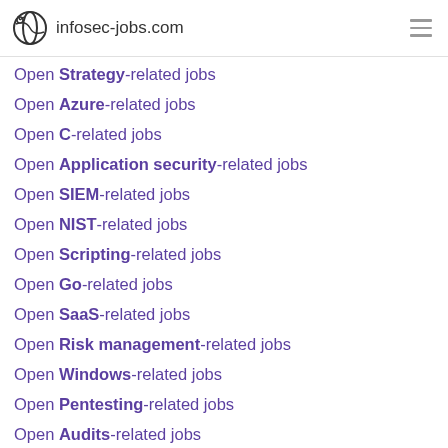infosec-jobs.com
Open Strategy-related jobs
Open Azure-related jobs
Open C-related jobs
Open Application security-related jobs
Open SIEM-related jobs
Open NIST-related jobs
Open Scripting-related jobs
Open Go-related jobs
Open SaaS-related jobs
Open Risk management-related jobs
Open Windows-related jobs
Open Pentesting-related jobs
Open Audits-related jobs
Open Vulnerability management-related jobs